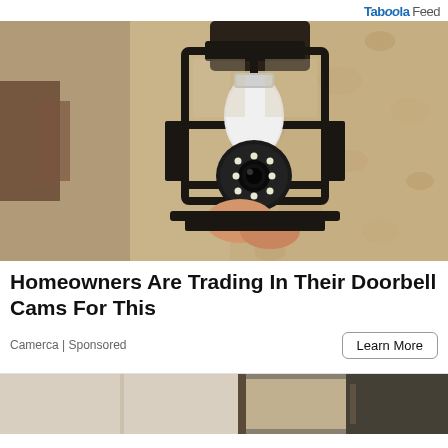Taboola Feed
[Figure (photo): A security camera shaped like a light bulb installed inside a black metal lantern wall sconce, mounted on a textured stucco wall. The camera has a white spherical body with a black eye-like lens surrounded by LED lights.]
Homeowners Are Trading In Their Doorbell Cams For This
Camerca | Sponsored
Learn More
[Figure (photo): Partial view of a second advertisement image showing what appears to be a window or door frame, partially visible at the bottom of the page.]